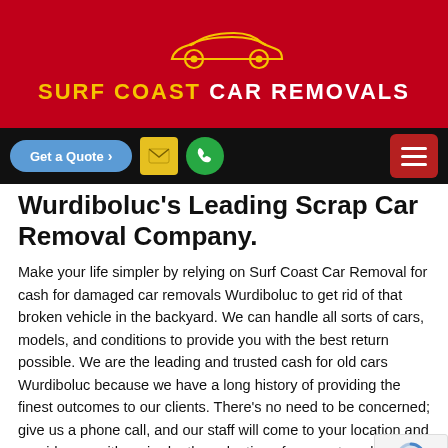[Figure (logo): Surf Coast Car Removals logo: yellow car outline on red background with brand name text]
[Figure (infographic): Navigation bar with Get a Quote button, mail icon, phone icon, and hamburger menu on black background]
Wurdiboluc's Leading Scrap Car Removal Company.
Make your life simpler by relying on Surf Coast Car Removal for cash for damaged car removals Wurdiboluc to get rid of that broken vehicle in the backyard. We can handle all sorts of cars, models, and conditions to provide you with the best return possible. We are the leading and trusted cash for old cars Wurdiboluc because we have a long history of providing the finest outcomes to our clients. There's no need to be concerned; give us a phone call, and our staff will come to your location and provide you with an in-depth evaluation of your automobile and instant cash for your vehicle.